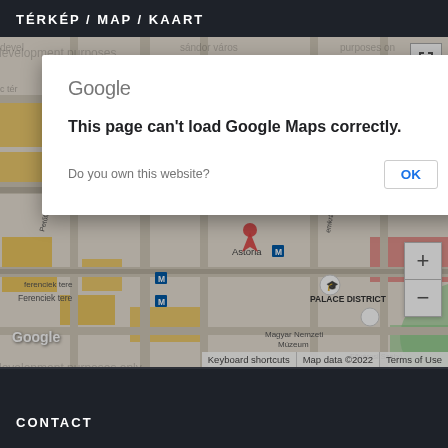TÉRKÉP / MAP / KAART
[Figure (screenshot): Google Maps screenshot of Budapest area (Astoria, Ferenciek tere, Magyar Nemzeti Múzeum, Palace District) with a Google Maps error dialog overlay saying 'This page can't load Google Maps correctly.' with an OK button and 'Do you own this website?' prompt. Map shows development purposes only watermark. Zoom controls and Google logo visible.]
CONTACT